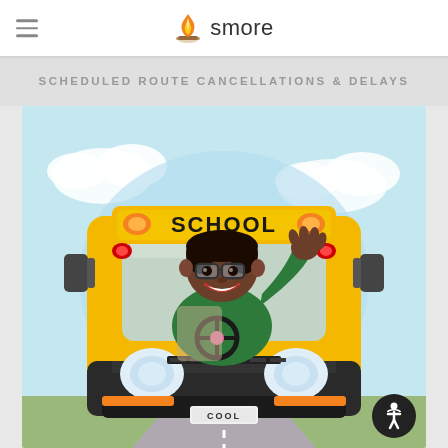smore
SCHEDULED ROUTE CANCELLATIONS & DELAYS
[Figure (illustration): Cartoon illustration of a yellow school bus labeled 'SCHOOL' on the front, with a smiling Black woman bus driver wearing glasses and a green shirt, waving out the driver's window. The bus has headlights, orange signal lights, side mirrors, and a license plate reading 'COOL'. The background shows a light blue sky with clouds and a road.]